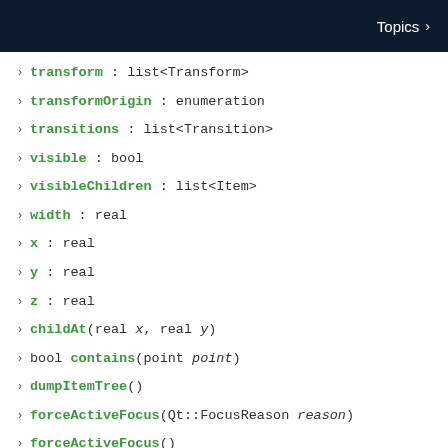Topics >
transform : list<Transform>
transformOrigin : enumeration
transitions : list<Transition>
visible : bool
visibleChildren : list<Item>
width : real
x : real
y : real
z : real
childAt(real x, real y)
bool contains(point point)
dumpItemTree()
forceActiveFocus(Qt::FocusReason reason)
forceActiveFocus()
bool grabToImage(callback, targetSize)